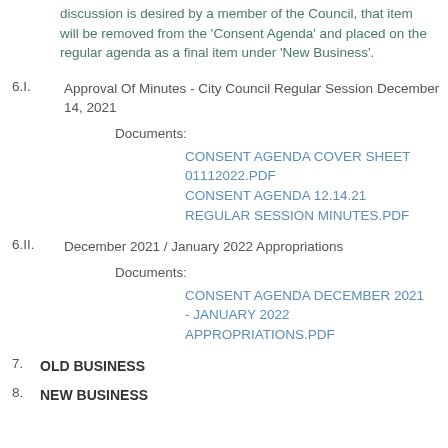discussion is desired by a member of the Council, that item will be removed from the 'Consent Agenda' and placed on the regular agenda as a final item under 'New Business'.
6.I.  Approval Of Minutes - City Council Regular Session December 14, 2021
Documents:
CONSENT AGENDA COVER SHEET 01112022.PDF
CONSENT AGENDA 12.14.21 REGULAR SESSION MINUTES.PDF
6.II.  December 2021 / January 2022 Appropriations
Documents:
CONSENT AGENDA DECEMBER 2021 - JANUARY 2022 APPROPRIATIONS.PDF
7.  OLD BUSINESS
8.  NEW BUSINESS